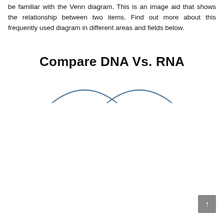be familiar with the Venn diagram. This is an image aid that shows the relationship between two items. Find out more about this frequently used diagram in different areas and fields below.
Compare DNA Vs. RNA
[Figure (illustration): Two overlapping arcs (Venn diagram outline) suggesting two circles, rendered as curved lines in a steel blue color, representing the top portions of two overlapping circles for a DNA vs RNA Venn diagram.]
↑